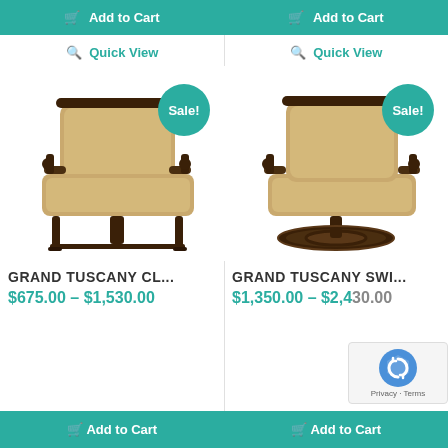Add to Cart (top left)
Add to Cart (top right)
Quick View (left)
Quick View (right)
[Figure (photo): Patio club chair with tan cushions and dark metal frame, with 'Sale!' badge]
[Figure (photo): Patio swivel rocker chair with tan cushions and dark circular metal base, with 'Sale!' badge]
GRAND TUSCANY CL...
GRAND TUSCANY SWI...
$675.00 – $1,530.00
$1,350.00 – $2,430.00
Add to Cart (bottom left)
Add to Cart (bottom right)